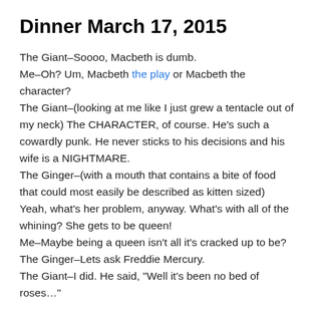Dinner March 17, 2015
The Giant–Soooo, Macbeth is dumb.
Me–Oh? Um, Macbeth the play or Macbeth the character?
The Giant–(looking at me like I just grew a tentacle out of my neck) The CHARACTER, of course. He's such a cowardly punk. He never sticks to his decisions and his wife is a NIGHTMARE.
The Ginger–(with a mouth that contains a bite of food that could most easily be described as kitten sized) Yeah, what's her problem, anyway. What's with all of the whining? She gets to be queen!
Me–Maybe being a queen isn't all it's cracked up to be?
The Ginger–Lets ask Freddie Mercury.
The Giant–I did. He said, "Well it's been no bed of roses…"